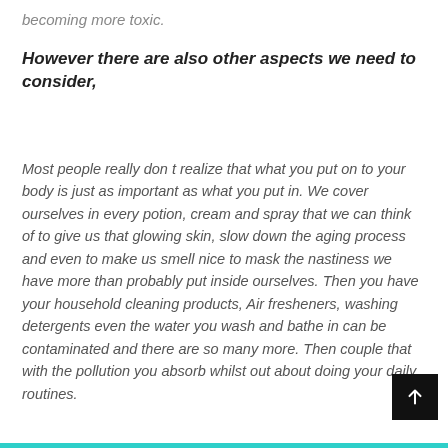becoming more toxic.
However there are also other aspects we need to consider,
Most people really don t realize that what you put on to your body is just as important as what you put in. We cover ourselves in every potion, cream and spray that we can think of to give us that glowing skin, slow down the aging process and even to make us smell nice to mask the nastiness we have more than probably put inside ourselves. Then you have your household cleaning products, Air fresheners, washing detergents even the water you wash and bathe in can be contaminated and there are so many more. Then couple that with the pollution you absorb whilst out about doing your daily routines.